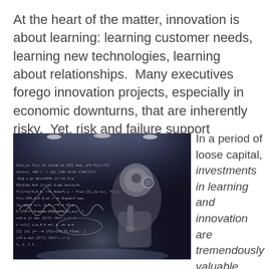At the heart of the matter, innovation is about learning: learning customer needs, learning new technologies, learning about relationships. Many executives forego innovation projects, especially in economic downturns, that are inherently risky. Yet, risk and failure support learning.
[Figure (photo): A humanoid robot in a thinking pose standing in front of a blackboard covered in mathematical equations and formulas, with dramatic spotlights from above. Black and white / high contrast dramatic image.]
In a period of loose capital, investments in learning and innovation are tremendously valuable. Many studies have shown that firms with continuous